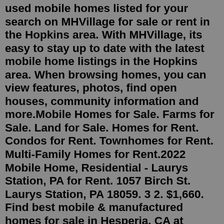used mobile homes listed for your search on MHVillage for sale or rent in the Hopkins area. With MHVillage, its easy to stay up to date with the latest mobile home listings in the Hopkins area. When browsing homes, you can view features, photos, find open houses, community information and more.Mobile Homes for Sale. Farms for Sale. Land for Sale. Homes for Rent. Condos for Rent. Townhomes for Rent. Multi-Family Homes for Rent.2022 Mobile Home, Residential - Laurys Station, PA for Rent. 1057 Birch St. Laurys Station, PA 18059. 3 2. $1,660. Find best mobile & manufactured homes for sale in Hesperia, CA at realtor.com®. We found 26 active listings for mobile & manufactured homes. See photos and more. 2 days ago · As of August 1, 2022 there are 28 houses to rent in Mobile, AL. You can use our filters such as price, bedrooms, bathrooms, pets and more to find the best Mobile house for rent for you. We have houses for rent by owner in Mobile including private owner rental homes in Mobile, AL. A mobile home for rent is typically much cheaper